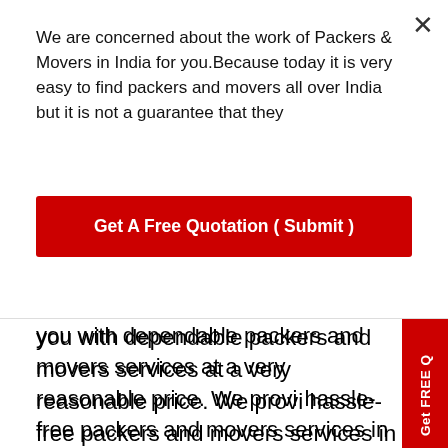We are concerned about the work of Packers & Movers in India for you.Because today it is very easy to find packers and movers all over India but it is not a guarantee that they
[Figure (other): Red CTA button: Get A Free Quotation ( Submit )]
you with dependable packers and movers services at a very reasonable price. We provide hassle-free packers and movers services in Darjeeling with the help of our skilled staff. Our company delivers your merchandise to your doorstep on time and in complete safety and security.
Rehousing packers and movers, are well-known packers and movers in Darjeeling, and we provide you with unrivalled packers and movers services in Darjeeling. At a very affordable price, Rehousing packers and movers provide packing and unpacking